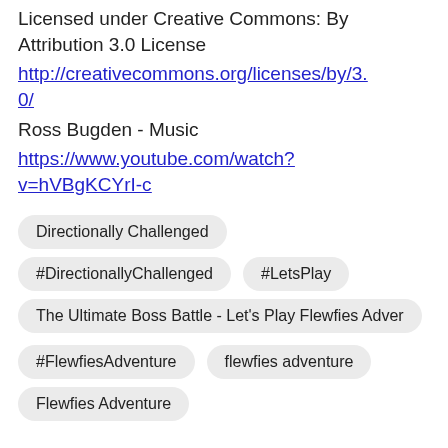Licensed under Creative Commons: By Attribution 3.0 License
http://creativecommons.org/licenses/by/3.0/
Ross Bugden - Music
https://www.youtube.com/watch?v=hVBgKCYrI-c
Directionally Challenged
#DirectionallyChallenged
#LetsPlay
The Ultimate Boss Battle - Let's Play Flewfies Adver
#FlewfiesAdventure
flewfies adventure
Flewfies Adventure